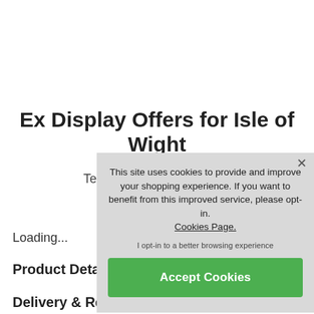Ex Display Offers for Isle of Wight Only
Tennyso…
Loading...
Product Details
Delivery & Returns
This site uses cookies to provide and improve your shopping experience. If you want to benefit from this improved service, please opt-in. Cookies Page.

I opt-in to a better browsing experience

Accept Cookies